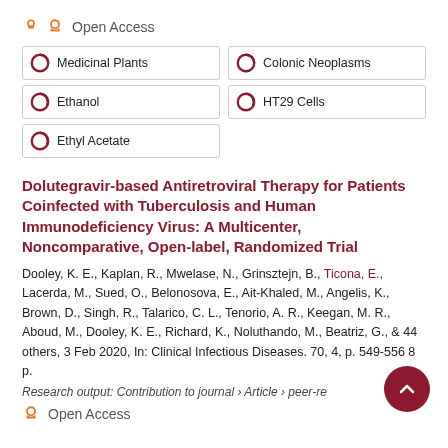Open Access
Medicinal Plants
Colonic Neoplasms
Ethanol
HT29 Cells
Ethyl Acetate
Dolutegravir-based Antiretroviral Therapy for Patients Coinfected with Tuberculosis and Human Immunodeficiency Virus: A Multicenter, Noncomparative, Open-label, Randomized Trial
Dooley, K. E., Kaplan, R., Mwelase, N., Grinsztejn, B., Ticona, E., Lacerda, M., Sued, O., Belonosova, E., Ait-Khaled, M., Angelis, K., Brown, D., Singh, R., Talarico, C. L., Tenorio, A. R., Keegan, M. R., Aboud, M., Dooley, K. E., Richard, K., Noluthando, M., Beatriz, G., & 44 others, 3 Feb 2020, In: Clinical Infectious Diseases. 70, 4, p. 549-556 8 p.
Research output: Contribution to journal › Article › peer-reviewed
Open Access